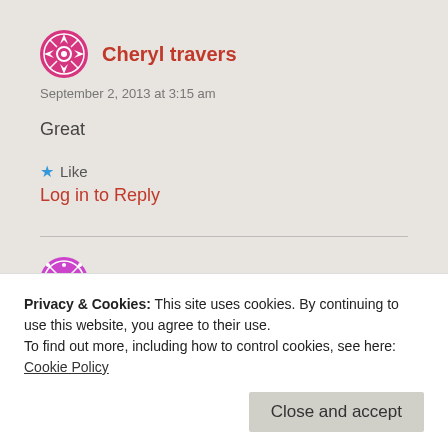Cheryl travers
September 2, 2013 at 3:15 am
Great
★ Like
Log in to Reply
Jim
Privacy & Cookies: This site uses cookies. By continuing to use this website, you agree to their use.
To find out more, including how to control cookies, see here:
Cookie Policy
Close and accept